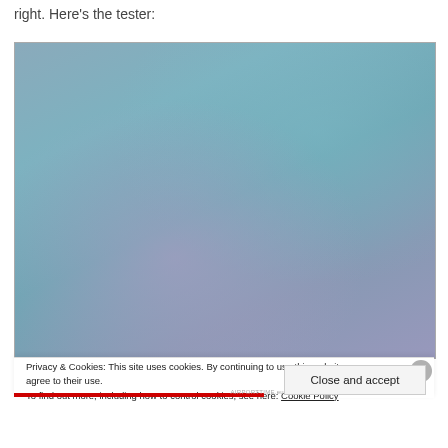right.  Here's the tester:
[Figure (screenshot): Screenshot of a webpage with a blurred blue-grey gradient background image and a cookie consent overlay at the bottom. The overlay reads: Privacy & Cookies: This site uses cookies. By continuing to use this website, you agree to their use. To find out more, including how to control cookies, see here: Cookie Policy. A 'Close and accept' button appears at bottom right.]
Privacy & Cookies: This site uses cookies. By continuing to use this website, you agree to their use.
To find out more, including how to control cookies, see here: Cookie Policy
Close and accept